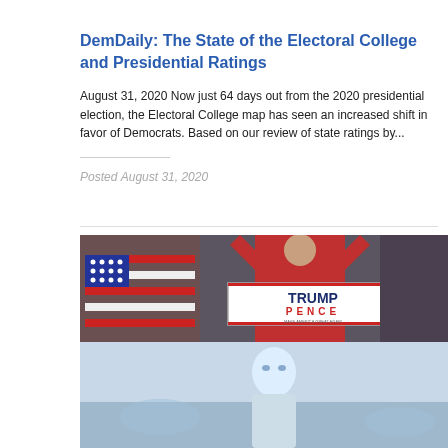DemDaily: The State of the Electoral College and Presidential Ratings
August 31, 2020 Now just 64 days out from the 2020 presidential election, the Electoral College map has seen an increased shift in favor of Democrats. Based on our review of state ratings by...
Posted August 31, 2020
[Figure (photo): Photo of a woman in red dress at a podium with American flags in the background and a Trump Pence campaign sign visible]
[Figure (photo): Image of a pale white-walker type character from a fantasy setting against a cold blue background]